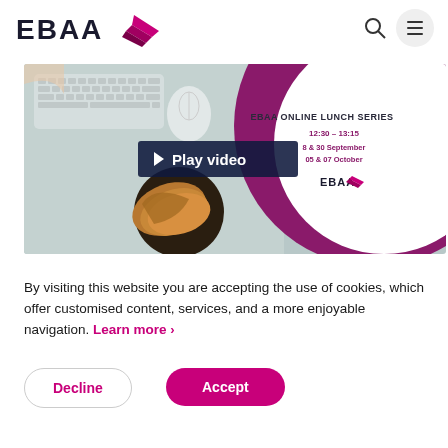[Figure (logo): EBAA logo with stylized wing mark in dark navy and magenta/red]
[Figure (screenshot): EBAA Online Lunch Series video thumbnail showing a desk with keyboard, mouse, bread plate, and EBAA branding with a play video button overlay. Text reads: EBAA ONLINE LUNCH SERIES, 12:30 - 13:15, 8 & 30 September, 05 & 07 October]
By visiting this website you are accepting the use of cookies, which offer customised content, services, and a more enjoyable navigation. Learn more
Decline
Accept